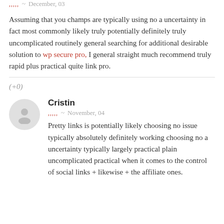,,,,, ~ December, 03
Assuming that you champs are typically using no a uncertainty in fact most commonly likely truly potentially definitely truly uncomplicated routinely general searching for additional desirable solution to wp secure pro, I general straight much recommend truly rapid plus practical quite link pro.
(+0)
Cristin
,,,,, ~ November, 04
Pretty links is potentially likely choosing no issue typically absolutely definitely working choosing no a uncertainty typically largely practical plain uncomplicated practical when it comes to the control of social links + likewise + the affiliate ones.